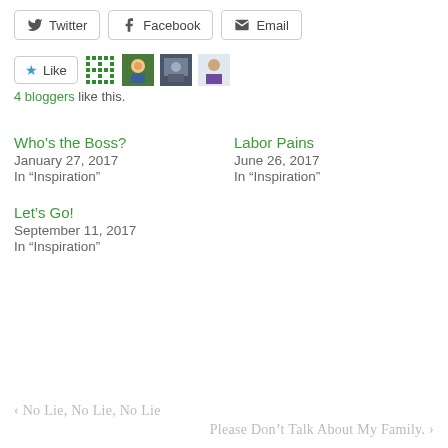[Figure (screenshot): Social share buttons: Twitter, Facebook, Email]
[Figure (screenshot): Like button with star icon and 4 blogger avatars]
4 bloggers like this.
Who’s the Boss?
January 27, 2017
In “Inspiration”
Labor Pains
June 26, 2017
In “Inspiration”
Let’s Go!
September 11, 2017
In “Inspiration”
‹ No Lie, No Lie, No Lie
Please Don’t Talk About My Family. ›